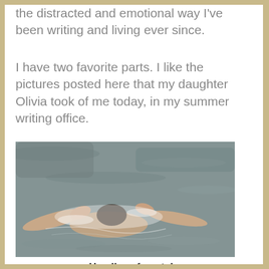the distracted and emotional way I've been writing and living ever since.
I have two favorite parts. I like the pictures posted here that my daughter Olivia took of me today, in my summer writing office.
[Figure (photo): A person swimming freestyle in open water, photographed from above. The swimmer's arms and body are visible but the head is submerged, creating splash and wake in the gray-green water.]
Headless freestyle